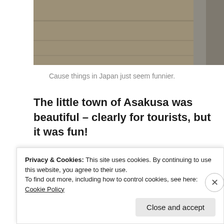[Figure (photo): Cropped top portion of a photo showing what appears to be a wooden or metal surface, partially visible]
Cause things in Japan just seem funnier.
The little town of Asakusa was beautiful – clearly for tourists, but it was fun!
[Figure (photo): Photo of Asakusa town showing buildings against a blue sky, with a street lamp and modern/traditional architecture]
Privacy & Cookies: This site uses cookies. By continuing to use this website, you agree to their use.
To find out more, including how to control cookies, see here: Cookie Policy
Close and accept